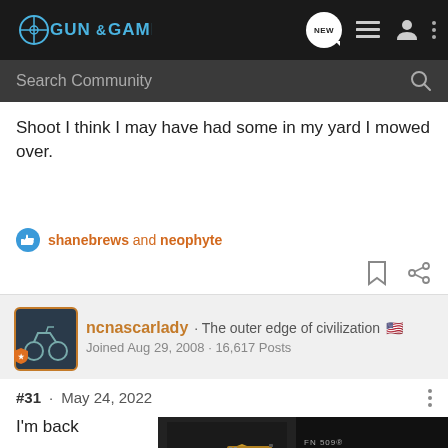Gun & Game
Search Community
Shoot I think I may have had some in my yard I mowed over.
shanebrews and neophyte
ncnascarlady · The outer edge of civilization
Joined Aug 29, 2008 · 16,617 Posts
#31 · May 24, 2022
I'm back
[Figure (screenshot): Advertisement banner for FN 509 Midsize Tactical pistol in gold finish]